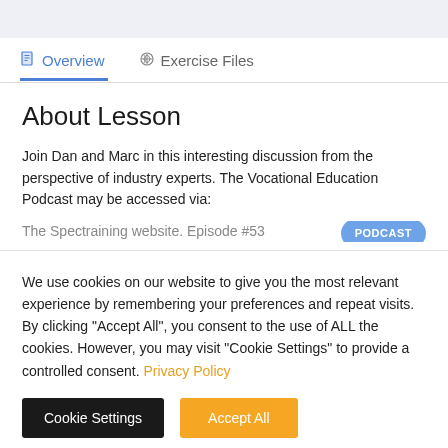Overview | Exercise Files
About Lesson
Join Dan and Marc in this interesting discussion from the perspective of industry experts. The Vocational Education Podcast may be accessed via:
The Spectraining website. Episode #53  PODCAST
We use cookies on our website to give you the most relevant experience by remembering your preferences and repeat visits. By clicking "Accept All", you consent to the use of ALL the cookies. However, you may visit "Cookie Settings" to provide a controlled consent. Privacy Policy
Cookie Settings  Accept All